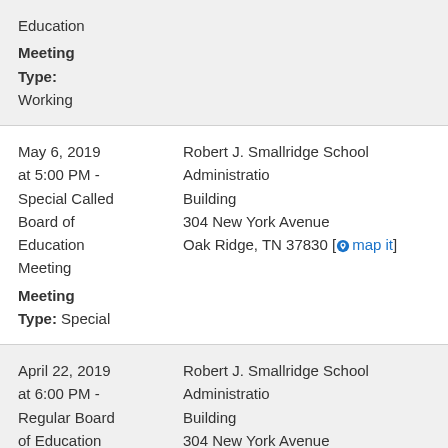Education

Meeting Type:
Working
May 6, 2019 at 5:00 PM - Special Called Board of Education Meeting

Meeting Type: Special
Robert J. Smallridge School Administration Building
304 New York Avenue
Oak Ridge, TN 37830 [map it]
April 22, 2019 at 6:00 PM - Regular Board of Education
Robert J. Smallridge School Administration Building
304 New York Avenue
Oak Ridge, TN 37830 [map it]